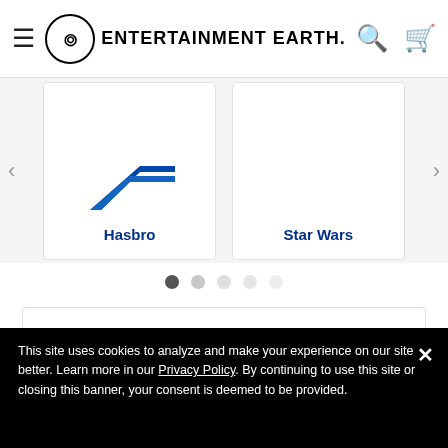Entertainment Earth
[Figure (logo): Hasbro brand card with blue chevron logo and label 'Hasbro']
[Figure (logo): Star Wars brand card with label 'Star Wars']
Entertainment Earth, Inc. markets and sells products, including children's products, for purchase by adults 18 years and over. If any product you are ordering is intended for a child please assume all of the following warnings may apply to that product:
WARNING: CHOKING HAZARD-Small parts. Not for children under 3 years.
This site uses cookies to analyze and make your experience on our site better. Learn more in our Privacy Policy. By continuing to use this site or closing this banner, your consent is deemed to be provided.